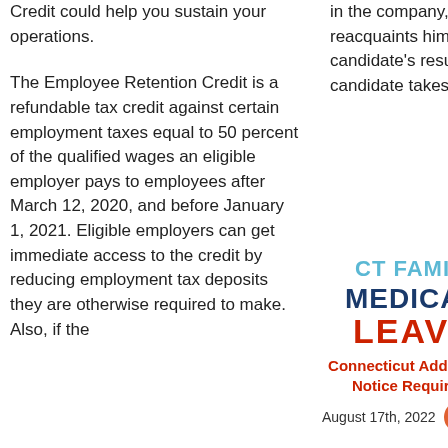Credit could help you sustain your operations.
The Employee Retention Credit is a refundable tax credit against certain employment taxes equal to 50 percent of the qualified wages an eligible employer pays to employees after March 12, 2020, and before January 1, 2021. Eligible employers can get immediate access to the credit by reducing employment tax deposits they are otherwise required to make. Also, if the
in the company, reacquaints himself with a candidate's resume as that candidate takes a seat [...]
[Figure (logo): CT Family & Medical Leave logo with blue and red text]
Connecticut Adds CT FMLA Notice Requirements
August 17th, 2022